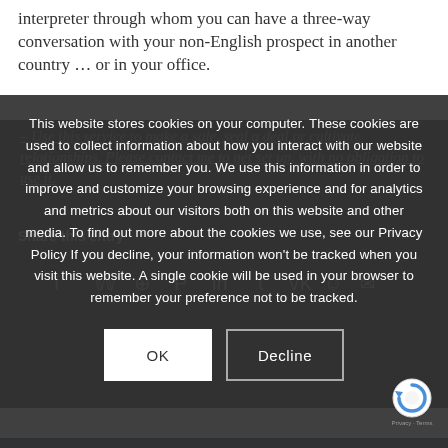seconds you will be connected to a telephonic interpreter through whom you can have a three-way conversation with your non-English prospect in another country … or in your office.
– Use this service to make a sale, seal a deal or cultivate relationships. Please contact me to get set up, with no obligation to use it.
This website stores cookies on your computer. These cookies are used to collect information about how you interact with our website and allow us to remember you. We use this information in order to improve and customize your browsing experience and for analytics and metrics about our visitors both on this website and other media. To find out more about the cookies we use, see our Privacy Policy If you decline, your information won't be tracked when you visit this website. A single cookie will be used in your browser to remember your preference not to be tracked.
Share this entry
[Figure (other): Social media sharing icons row: Facebook, Twitter, WhatsApp, Pinterest, LinkedIn, Tumblr, VK, Xing, Email]
[Figure (other): reCAPTCHA badge with logo, Privacy and Terms text]